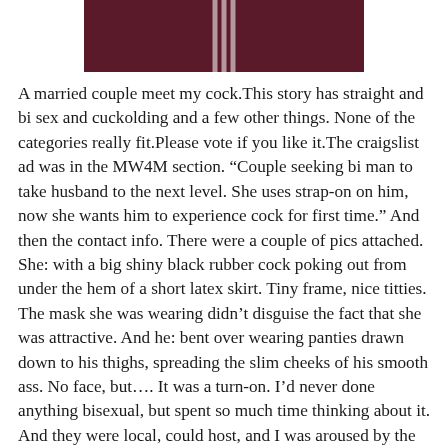[Figure (photo): Partial photo of a person wearing a dark maroon/purple top with white stripes, cropped to show torso/shoulder area only]
A married couple meet my cock.This story has straight and bi sex and cuckolding and a few other things. None of the categories really fit.Please vote if you like it.The craigslist ad was in the MW4M section. “Couple seeking bi man to take husband to the next level. She uses strap-on on him, now she wants him to experience cock for first time.” And then the contact info. There were a couple of pics attached. She: with a big shiny black rubber cock poking out from under the hem of a short latex skirt. Tiny frame, nice titties. The mask she was wearing didn’t disguise the fact that she was attractive. And he: bent over wearing panties drawn down to his thighs, spreading the slim cheeks of his smooth ass. No face, but…. It was a turn-on. I’d never done anything bisexual, but spent so much time thinking about it. And they were local, could host, and I was aroused by the thoughts of what we could do together.I hit ‘reply’.We traded emails, and a couple of phones calls. They were Mel and Tim. I’m Bruce. Then we Skyped. I saw them, they saw me. We got naked. They sat and watched as I stripped for them. And